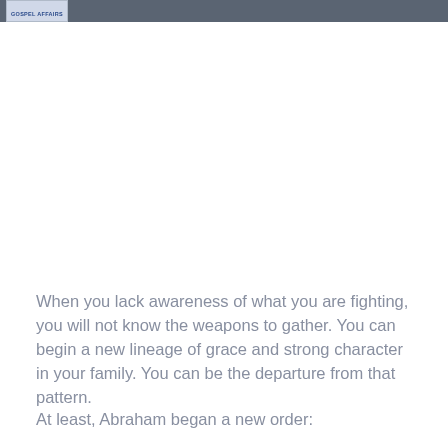GOSPEL AFFAIRS
When you lack awareness of what you are fighting, you will not know the weapons to gather. You can begin a new lineage of grace and strong character in your family. You can be the departure from that pattern.
At least, Abraham began a new order: